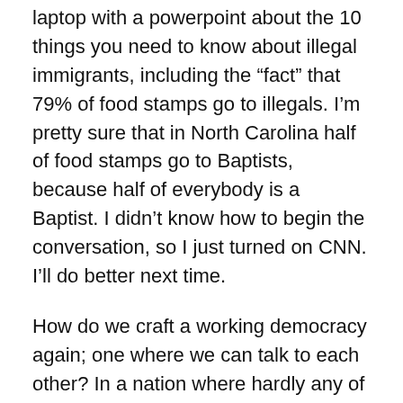laptop with a powerpoint about the 10 things you need to know about illegal immigrants, including the “fact” that 79% of food stamps go to illegals. I’m pretty sure that in North Carolina half of food stamps go to Baptists, because half of everybody is a Baptist. I didn’t know how to begin the conversation, so I just turned on CNN. I’ll do better next time.
How do we craft a working democracy again; one where we can talk to each other? In a nation where hardly any of us came from here, you wouldn’t think that would be that hard. We are all a muddle, all some kind of mutt. My last name is Norwegian, but 15/16th is something else. Nobody is the same, even those that think we are. All the Evangelicals and Catholics turn out to have abortions and divorces at nearly the exact rates as the liberals, who are presumed to not be Evangelical or Catholic, even though